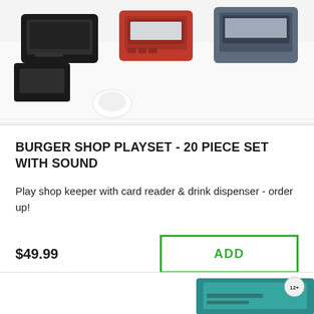[Figure (photo): Top portion of a product photo showing burger shop playset toy items including black and red card reader devices on a white background]
BURGER SHOP PLAYSET - 20 PIECE SET WITH SOUND
Play shop keeper with card reader & drink dispenser - order up!
$49.99
[Figure (photo): Bottom partial view of another product card showing a teal/turquoise colored product box, partially cropped]